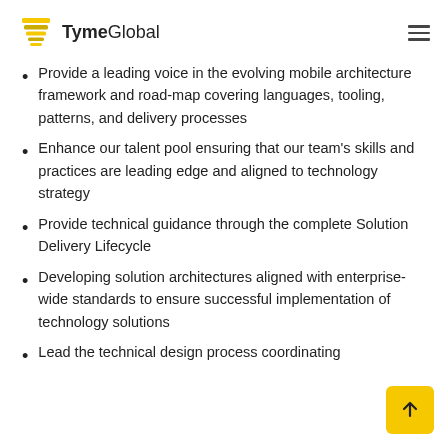TymeGlobal
Provide a leading voice in the evolving mobile architecture framework and road-map covering languages, tooling, patterns, and delivery processes
Enhance our talent pool ensuring that our team's skills and practices are leading edge and aligned to technology strategy
Provide technical guidance through the complete Solution Delivery Lifecycle
Developing solution architectures aligned with enterprise-wide standards to ensure successful implementation of technology solutions
Lead the technical design process coordinating